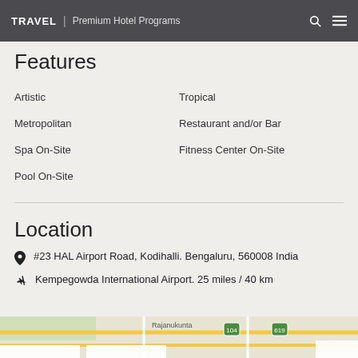TRAVEL | Premium Hotel Programs
Features
Artistic
Tropical
Metropolitan
Restaurant and/or Bar
Spa On-Site
Fitness Center On-Site
Pool On-Site
Location
#23 HAL Airport Road, Kodihalli. Bengaluru, 560008 India
Kempegowda International Airport. 25 miles / 40 km
[Figure (map): Street map showing Rajanukunta area near Bengaluru]